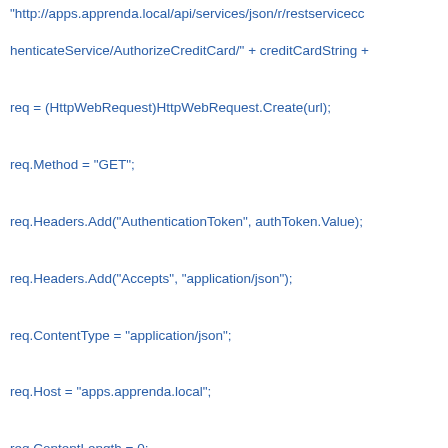"http://apps.apprenda.local/api/services/json/r/restservicecc henticateService/AuthorizeCreditCard/" + creditCardString +
req = (HttpWebRequest)HttpWebRequest.Create(url);
req.Method = "GET";
req.Headers.Add("AuthenticationToken", authToken.Value);
req.Headers.Add("Accepts", "application/json");
req.ContentType = "application/json";
req.Host = "apps.apprenda.local";
req.ContentLength = 0;
var response = (HttpWebResponse)req.GetResponse();
var dataContractSerializer = new DataContractSerializer(typ